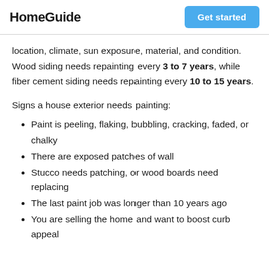HomeGuide | Get started
location, climate, sun exposure, material, and condition. Wood siding needs repainting every 3 to 7 years, while fiber cement siding needs repainting every 10 to 15 years.
Signs a house exterior needs painting:
Paint is peeling, flaking, bubbling, cracking, faded, or chalky
There are exposed patches of wall
Stucco needs patching, or wood boards need replacing
The last paint job was longer than 10 years ago
You are selling the home and want to boost curb appeal